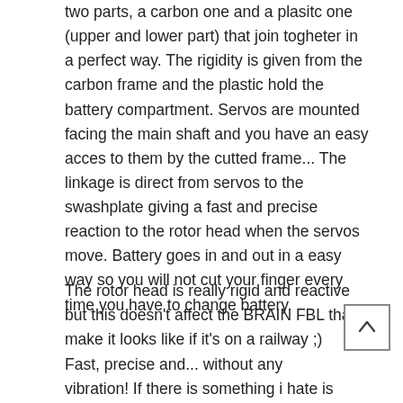two parts, a carbon one and a plasitc one (upper and lower part) that join togheter in a perfect way. The rigidity is given from the carbon frame and the plastic hold the battery compartment. Servos are mounted facing the main shaft and you have an easy acces to them by the cutted frame... The linkage is direct from servos to the swashplate giving a fast and precise reaction to the rotor head when the servos move. Battery goes in and out in a easy way so you will not cut your finger every time you have to change battery.
The rotor head is really rigid and reactive but this doesn't affect the BRAIN FBL that make it looks like if it's on a railway ;)
Fast, precise and... without any vibration! If there is something i hate is when my tail isn't peforming as expected. Sometimes we say that the problem is the